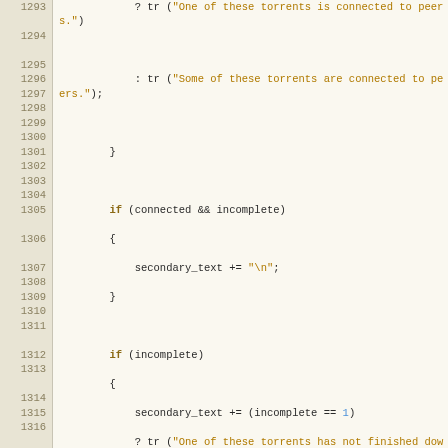[Figure (screenshot): Source code listing lines 1293-1318 of a C++ file showing message box construction logic with torrent status strings and Qt widget calls]